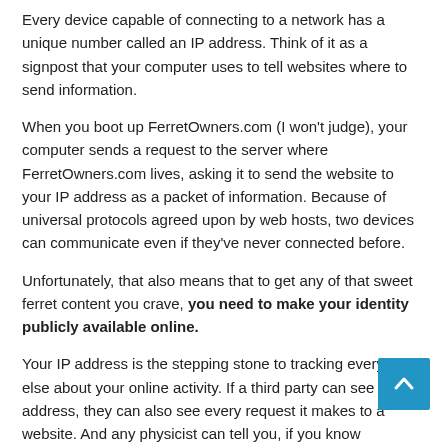Every device capable of connecting to a network has a unique number called an IP address. Think of it as a signpost that your computer uses to tell websites where to send information.
When you boot up FerretOwners.com (I won't judge), your computer sends a request to the server where FerretOwners.com lives, asking it to send the website to your IP address as a packet of information. Because of universal protocols agreed upon by web hosts, two devices can communicate even if they've never connected before.
Unfortunately, that also means that to get any of that sweet ferret content you crave, you need to make your identity publicly available online.
Your IP address is the stepping stone to tracking everything else about your online activity. If a third party can see your IP address, they can also see every request it makes to a website. And any physicist can tell you, if you know something's position and direction, you know everything.